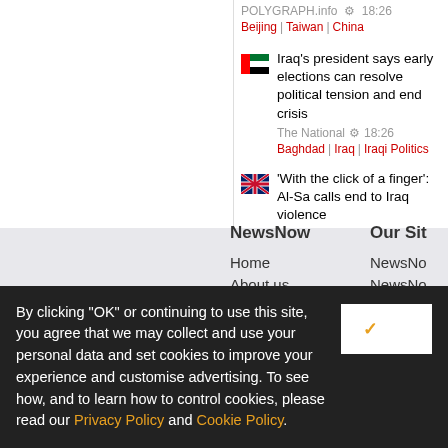POLYGRAPH.info  18:26
Beijing | Taiwan | China
Iraq's president says early elections can resolve political tension and end crisis
The National  18:26
Baghdad | Iraq | Iraqi Politics
'With the click of a finger': Al-Sa calls end to Iraq violence
The Independent  17:17
Iraq | Baghdad | Iraq Protests
NewsNow
Home
About us
Our Sit
NewsNo
NewsNo
By clicking "OK" or continuing to use this site, you agree that we may collect and use your personal data and set cookies to improve your experience and customise advertising. To see how, and to learn how to control cookies, please read our Privacy Policy and Cookie Policy.